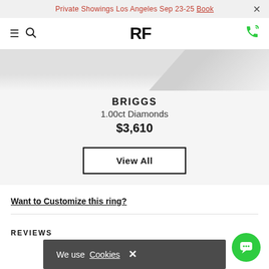Private Showings Los Angeles Sep 23-25 Book ×
≡ 🔍  RF  📞
[Figure (photo): Partial product image (ring) against gray gradient background]
BRIGGS
1.00ct Diamonds
$3,610
View All
Want to Customize this ring?
REVIEWS
We use Cookies ×